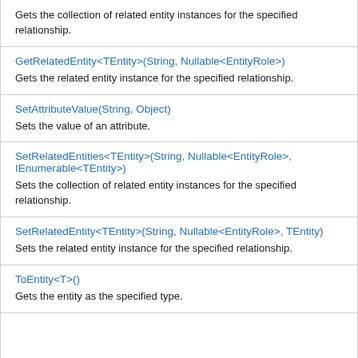Gets the collection of related entity instances for the specified relationship.
GetRelatedEntity<TEntity>(String, Nullable<EntityRole>)
Gets the related entity instance for the specified relationship.
SetAttributeValue(String, Object)
Sets the value of an attribute.
SetRelatedEntities<TEntity>(String, Nullable<EntityRole>, IEnumerable<TEntity>)
Sets the collection of related entity instances for the specified relationship.
SetRelatedEntity<TEntity>(String, Nullable<EntityRole>, TEntity)
Sets the related entity instance for the specified relationship.
ToEntity<T>()
Gets the entity as the specified type.